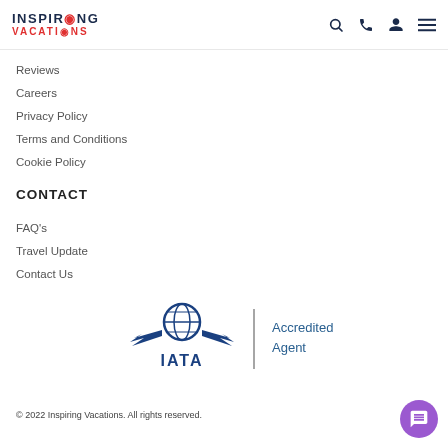Inspiring Vacations — navigation header with search, phone, account, and menu icons
Reviews
Careers
Privacy Policy
Terms and Conditions
Cookie Policy
CONTACT
FAQ's
Travel Update
Contact Us
[Figure (logo): IATA Accredited Agent logo — globe with wings and IATA text, beside 'Accredited Agent' text]
© 2022 Inspiring Vacations. All rights reserved.